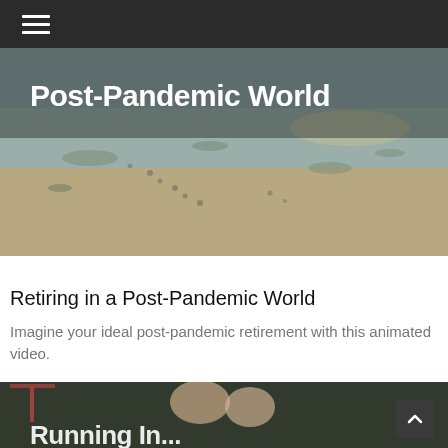Navigation menu
[Figure (photo): Aerial/beach view with footsteps in sand and text overlay reading 'Post-Pandemic World' in bold white font]
Retiring in a Post-Pandemic World
Imagine your ideal post-pandemic retirement with this animated video.
[Figure (photo): Older adult outdoors near basketball court with partial text overlay reading 'Running In...' in bold white font]